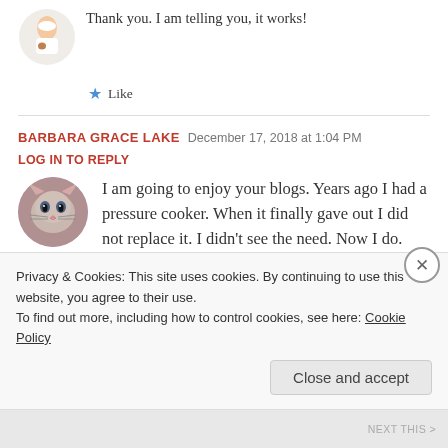Thank you. I am telling you, it works!
Like
BARBARA GRACE LAKE  December 17, 2018 at 1:04 PM  LOG IN TO REPLY
I am going to enjoy your blogs. Years ago I had a pressure cooker. When it finally gave out I did not replace it. I didn't see the need. Now I do. Even though retired, it seems that 4:00 in the afternoon comes all too soon and I'm wondering "what's for dinner." At 87, I need all the shortcuts I
Privacy & Cookies: This site uses cookies. By continuing to use this website, you agree to their use. To find out more, including how to control cookies, see here: Cookie Policy
Close and accept